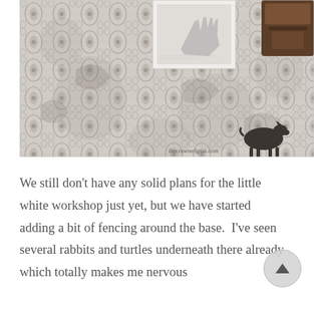[Figure (photo): A black-and-white overhead photo of a decorative patterned rug or textile with floral/medallion motifs. In the upper portion, there is a white card/photo and what appears to be a dark wooden box or chest. In the lower right corner, there is a silhouette of a small goat and a watermark reading 'thecrownedgoat.com'.]
We still don't have any solid plans for the little white workshop just yet, but we have started adding a bit of fencing around the base.  I've seen several rabbits and turtles underneath there already which totally makes me nervous